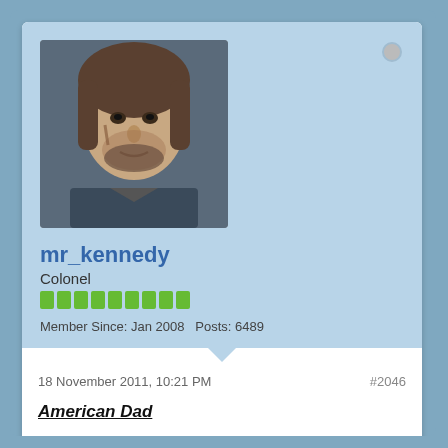[Figure (photo): Profile avatar photo of a man with long hair and a weathered face]
mr_kennedy
Colonel
Member Since: Jan 2008   Posts: 6489
18 November 2011, 10:21 PM
#2046
American Dad
8.04 - The Worst Stan
Hell on Wheels
1.01 - Pilot
1.02 - Immoral Mathematics
Suburgatory